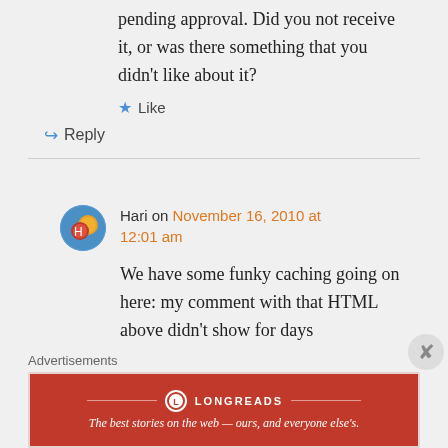pending approval. Did you not receive it, or was there something that you didn't like about it?
Like
Reply
Hari on November 16, 2010 at 12:01 am
We have some funky caching going on here: my comment with that HTML above didn't show for days
Advertisements
[Figure (logo): Longreads advertisement banner: red background with Longreads logo and tagline 'The best stories on the web — ours, and everyone else's.']